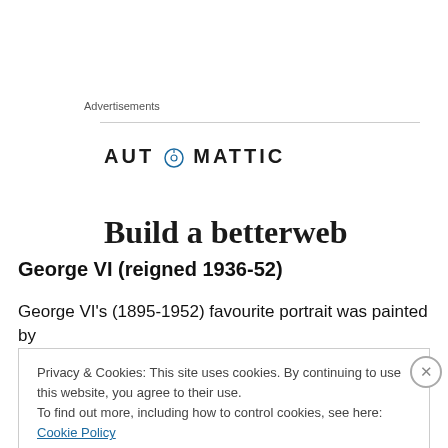Advertisements
[Figure (logo): Automattic logo with compass icon and text AUTOMATTIC in bold uppercase letters]
Build a betterweb
George VI (reigned 1936-52)
George VI’s (1895-1952) favourite portrait was painted by
Privacy & Cookies: This site uses cookies. By continuing to use this website, you agree to their use.
To find out more, including how to control cookies, see here: Cookie Policy
Close and accept